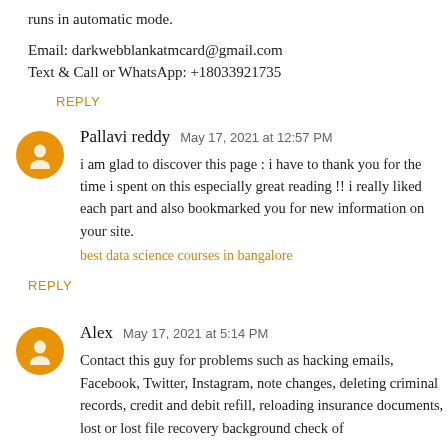runs in automatic mode.
Email: darkwebblankatmcard@gmail.com
Text & Call or WhatsApp: +18033921735
REPLY
Pallavi reddy  May 17, 2021 at 12:57 PM
i am glad to discover this page : i have to thank you for the time i spent on this especially great reading !! i really liked each part and also bookmarked you for new information on your site.
best data science courses in bangalore
REPLY
Alex  May 17, 2021 at 5:14 PM
Contact this guy for problems such as hacking emails, Facebook, Twitter, Instagram, note changes, deleting criminal records, credit and debit refill, reloading insurance documents, lost or lost file recovery background check of